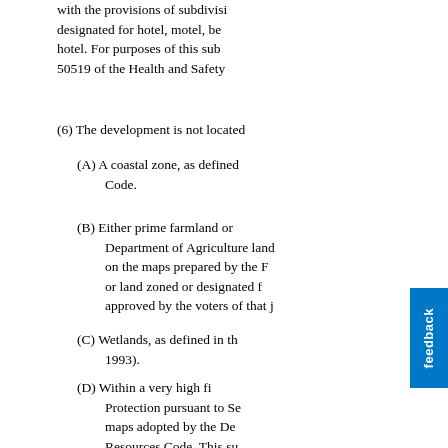with the provisions of subdivisi designated for hotel, motel, be hotel. For purposes of this sube 50519 of the Health and Safety
(6) The development is not located
(A) A coastal zone, as defined Code.
(B) Either prime farmland or Department of Agriculture land on the maps prepared by the F or land zoned or designated f approved by the voters of that j
(C) Wetlands, as defined in th 1993).
(D) Within a very high fi Protection pursuant to Se maps adopted by the De Resources Code. This su local agency, pursuant to measures pursuant to existi development.